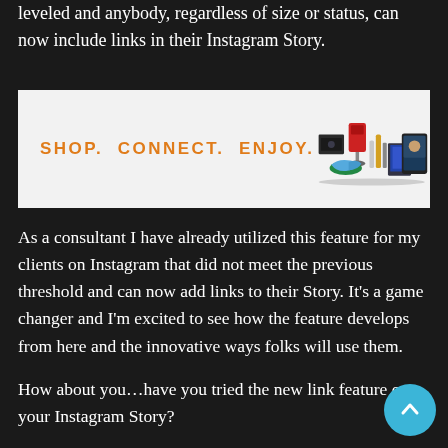leveled and anybody, regardless of size or status, can now include links in their Instagram Story.
[Figure (photo): Advertisement banner with white background showing 'SHOP. CONNECT. ENJOY.' text in orange on left, and various consumer products (gaming console, shoes, kitchen appliance, books, tablet) on right]
As a consultant I have already utilized this feature for my clients on Instagram that did not meet the previous threshold and can now add links to their Story. It’s a game changer and I’m excited to see how the feature develops from here and the innovative ways folks will use them.
How about you…have you tried the new link feature on your Instagram Story?
I offer a variety of services, including digital marketing, social media and copy editing through